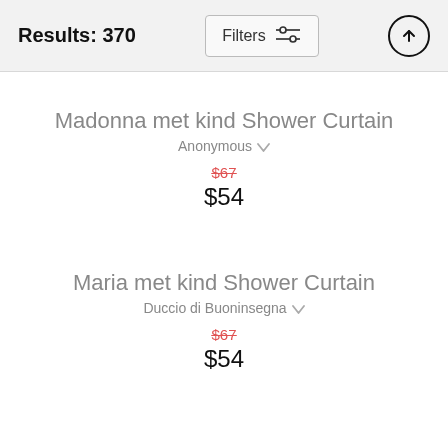Results: 370
Madonna met kind Shower Curtain
Anonymous
$67 $54
Maria met kind Shower Curtain
Duccio di Buoninsegna
$67 $54